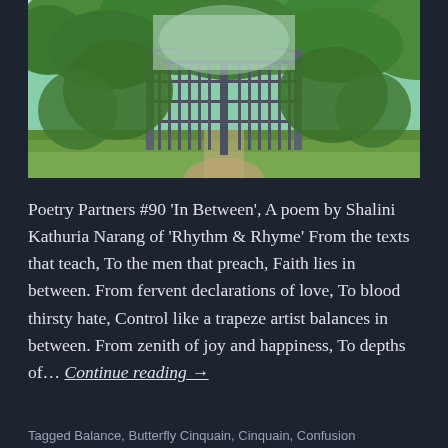[Figure (photo): An ornate wrought-iron garden gate/trellis structure surrounded by lush green trees and garden foliage on a bright day.]
Poetry Partners #90 'In Between', A poem by Shalini Kathuria Narang of 'Rhythm & Rhyme' From the texts that teach, To the men that preach, Faith lies in between. From fervent declarations of love, To blood thirsty hate, Control like a trapeze artist balances in between. From zenith of joy and happiness, To depths of... Continue reading →
Tagged Balance, Butterfly Cinquain, Cinquain, Confusion